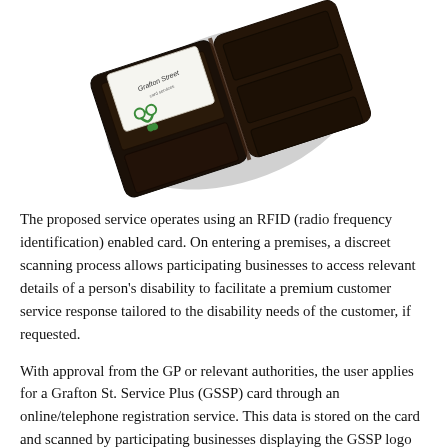[Figure (photo): A dark leather bifold wallet opened, showing card slots. A card with 'Grafton Street' text and a green logo/string is inserted in the left slot. The wallet is photographed at an angle on a white background.]
The proposed service operates using an RFID (radio frequency identification) enabled card. On entering a premises, a discreet scanning process allows participating businesses to access relevant details of a person's disability to facilitate a premium customer service response tailored to the disability needs of the customer, if requested.
With approval from the GP or relevant authorities, the user applies for a Grafton St. Service Plus (GSSP) card through an online/telephone registration service. This data is stored on the card and scanned by participating businesses displaying the GSSP logo